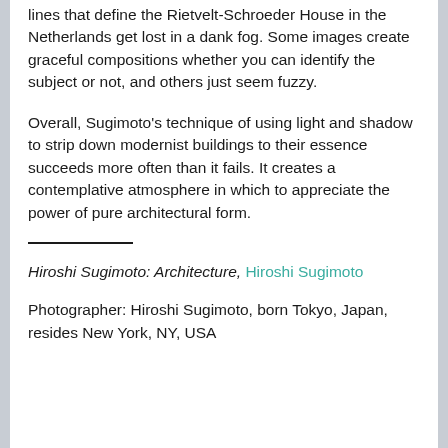lines that define the Rietvelt-Schroeder House in the Netherlands get lost in a dank fog. Some images create graceful compositions whether you can identify the subject or not, and others just seem fuzzy.
Overall, Sugimoto's technique of using light and shadow to strip down modernist buildings to their essence succeeds more often than it fails. It creates a contemplative atmosphere in which to appreciate the power of pure architectural form.
Hiroshi Sugimoto: Architecture, Hiroshi Sugimoto
Photographer: Hiroshi Sugimoto, born Tokyo, Japan, resides New York, NY, USA